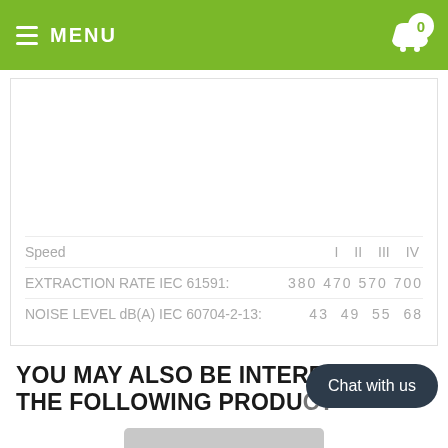MENU  0
| Speed | I | II | III | IV |
| --- | --- | --- | --- | --- |
| EXTRACTION RATE IEC 61591: | 380 | 470 | 570 | 700 |
| NOISE LEVEL dB(A) IEC 60704-2-13: | 43 | 49 | 55 | 68 |
YOU MAY ALSO BE INTERESTED IN THE FOLLOWING PRODU...
[Figure (photo): Product preview image - appears to be a kitchen appliance (extractor/cooker hood) in silver/white finish]